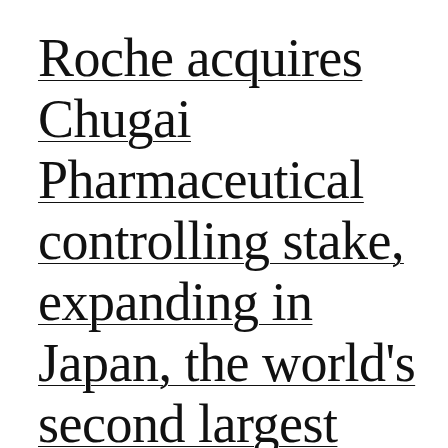Roche acquires Chugai Pharmaceutical controlling stake, expanding in Japan, the world's second largest pharmaceutical